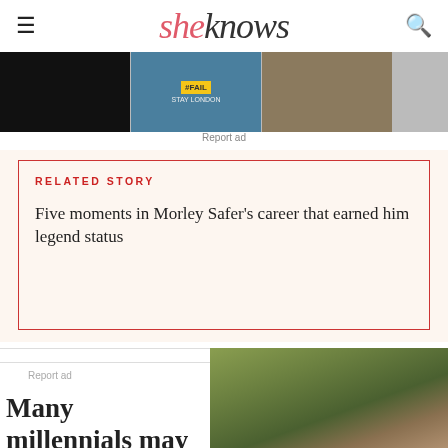sheknows
[Figure (photo): Three advertisement images: black image, protest image with #FAIL sign, and brown image]
Report ad
RELATED STORY
Five moments in Morley Safer's career that earned him legend status
Report ad
Many millennials may not know